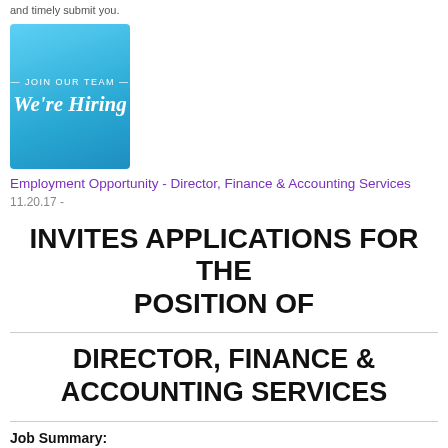and timely submit you.
[Figure (illustration): Blue gradient square image with white text reading 'JOIN OUR TEAM' and 'We're Hiring']
Employment Opportunity - Director, Finance & Accounting Services
11.20.17 -
INVITES APPLICATIONS FOR THE POSITION OF
DIRECTOR, FINANCE & ACCOUNTING SERVICES
Job Summary: